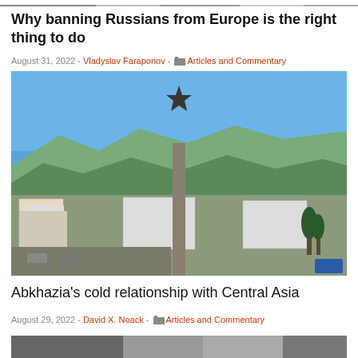[Figure (photo): Cropped top strip of an unidentified photo, partially visible]
Why banning Russians from Europe is the right thing to do
August 31, 2022 · Vladyslav Faraponov · Articles and Commentary
[Figure (photo): Aerial view of a city with a tall monument topped by a Soviet-style red star in the foreground, mountains in the background under blue sky — likely Sukhumi, Abkhazia]
Abkhazia's cold relationship with Central Asia
August 29, 2022 · David X. Noack · Articles and Commentary
[Figure (photo): Partially visible bottom image strip]